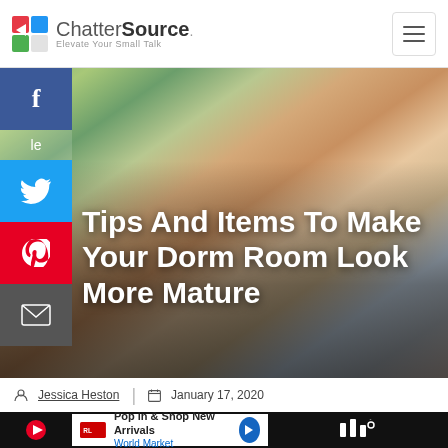ChatterSource. Elevate Your Small Talk
[Figure (photo): Young woman lying on a sofa with plants in background, smiling at camera, with social media sidebar (Facebook, Twitter, Pinterest, Email) and article title overlaid]
Tips And Items To Make Your Dorm Room Look More Mature
Jessica Heston | January 17, 2020
Pop in & Shop New Arrivals World Market